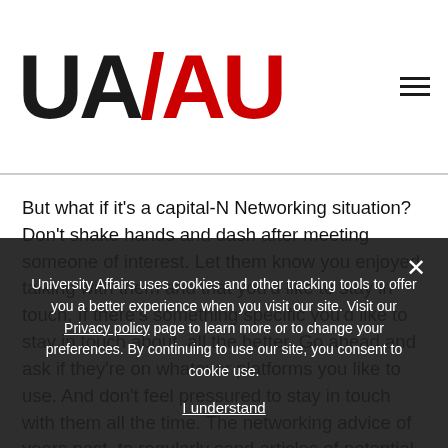[Figure (logo): UA/AU University Affairs logo — bold black 'UA' and red 'AU' with slash]
But what if it's a capital-N Networking situation? Don't shake hands and dash after meeting someone of interest. Let them know you enjoyed talking with them and that you'd like to stay in touch. If there's something specific you'd like to stay in touch about, all the better. Go ahead and ask if they're on whatever platforms you like to use. And don't feel pressured to stay in touch with them all the time. The networking advice of years past, to regularly send articles of potential interest to new contacts, came about before email became the enormous workplace time suck that it is.
University Affairs uses cookies and other tracking tools to offer you a better experience when you visit our site. Visit our Privacy policy page to learn more or to change your preferences. By continuing to use our site, you consent to cookie use.
I understand